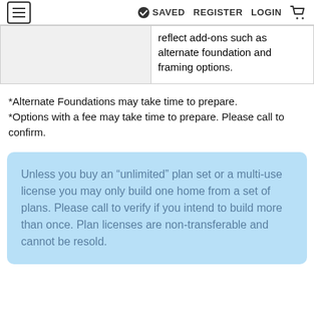≡  ✔ SAVED  REGISTER  LOGIN  🛒
|  | reflect add-ons such as alternate foundation and framing options. |
*Alternate Foundations may take time to prepare.
*Options with a fee may take time to prepare. Please call to confirm.
Unless you buy an “unlimited” plan set or a multi-use license you may only build one home from a set of plans. Please call to verify if you intend to build more than once. Plan licenses are non-transferable and cannot be resold.